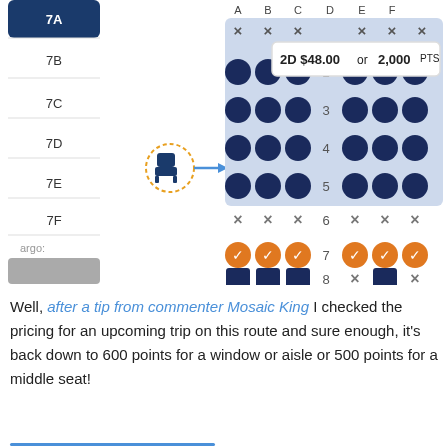[Figure (screenshot): Airline seat map screenshot showing rows 7A-7F selected/highlighted on the left sidebar and a grid of seat rows 1-8 with dark blue circles for available seats, X marks for unavailable, orange checkmark circles for selected/highlighted seats, and dark blue squares. A tooltip reads '2D $48.00 or 2,000PTS'. A seat selection icon with dotted circle is shown on the left.]
Well, after a tip from commenter Mosaic King I checked the pricing for an upcoming trip on this route and sure enough, it's back down to 600 points for a window or aisle or 500 points for a middle seat!